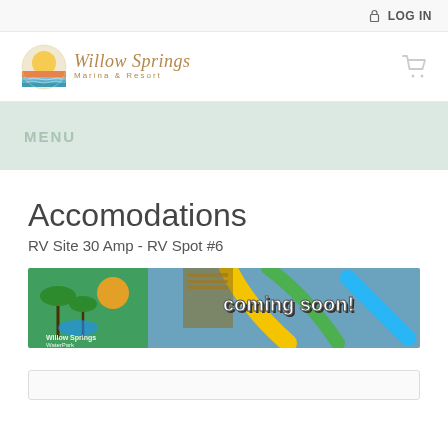🔒 LOG IN
[Figure (logo): Willow Springs Marina & Resort logo with sun and water graphic]
MENU
Accomodations
RV Site 30 Amp - RV Spot #6
[Figure (photo): Willow Springs WaterPark banner with water slides and 'COMING SOON!' text overlay]